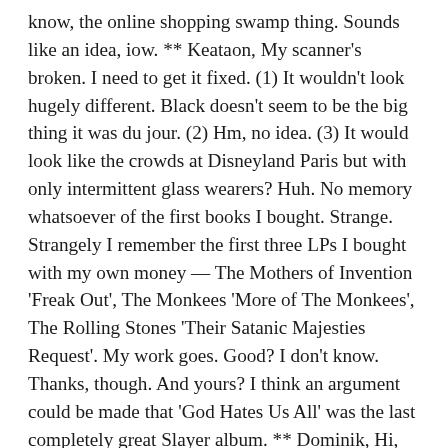know, the online shopping swamp thing. Sounds like an idea, iow. ** Keataon, My scanner's broken. I need to get it fixed. (1) It wouldn't look hugely different. Black doesn't seem to be the big thing it was du jour. (2) Hm, no idea. (3) It would look like the crowds at Disneyland Paris but with only intermittent glass wearers? Huh. No memory whatsoever of the first books I bought. Strange. Strangely I remember the first three LPs I bought with my own money — The Mothers of Invention 'Freak Out', The Monkees 'More of The Monkees', The Rolling Stones 'Their Satanic Majesties Request'. My work goes. Good? I don't know. Thanks, though. And yours? I think an argument could be made that 'God Hates Us All' was the last completely great Slayer album. ** Dominik, Hi, D! Ha ha, no, unfortunately, until the TV script is finished, every day of my life will be oriented around either working on it or feeling frustrated and not working on it but feeling irritated that I'm not. So that ate my weekend. I did see Gisele, but, ha ha, to talk about the